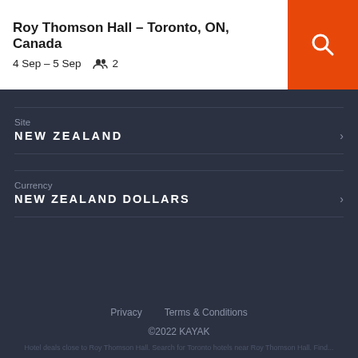Roy Thomson Hall – Toronto, ON, Canada
4 Sep – 5 Sep   2
Site
NEW ZEALAND
Currency
NEW ZEALAND DOLLARS
Privacy   Terms & Conditions
©2022 KAYAK
Hotel deals close to Roy Thomson Hall. Search for Toronto hotels near Roy Thomson Hall. Find...